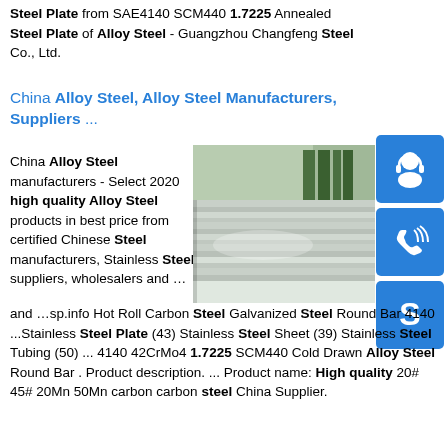Steel Plate from SAE4140 SCM440 1.7225 Annealed Steel Plate of Alloy Steel - Guangzhou Changfeng Steel Co., Ltd.
China Alloy Steel, Alloy Steel Manufacturers, Suppliers ...
China Alloy Steel manufacturers - Select 2020 high quality Alloy Steel products in best price from certified Chinese Steel manufacturers, Stainless Steel suppliers, wholesalers and …sp.info Hot Roll Carbon Steel Galvanized Steel Round Bar 4140 ...Stainless Steel Plate (43) Stainless Steel Sheet (39) Stainless Steel Tubing (50) ... 4140 42CrMo4 1.7225 SCM440 Cold Drawn Alloy Steel Round Bar . Product description. ... Product name: High quality 20# 45# 20Mn 50Mn carbon carbon steel China Supplier.
[Figure (photo): Stack of alloy steel plates in a warehouse setting]
[Figure (infographic): Blue sidebar icons: headset/customer service icon, phone/call icon, Skype icon]